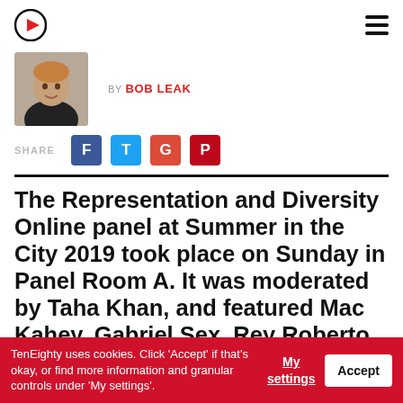TenEighty logo and navigation
[Figure (photo): Author photo of Bob Leak, a person smiling, informal headshot]
BY BOB LEAK
SHARE F T G P
The Representation and Diversity Online panel at Summer in the City 2019 took place on Sunday in Panel Room A. It was moderated by Taha Khan, and featured Mac Kahey, Gabriel Sex, Rey Roberto
TenEighty uses cookies. Click 'Accept' if that's okay, or find more information and granular controls under 'My settings'.